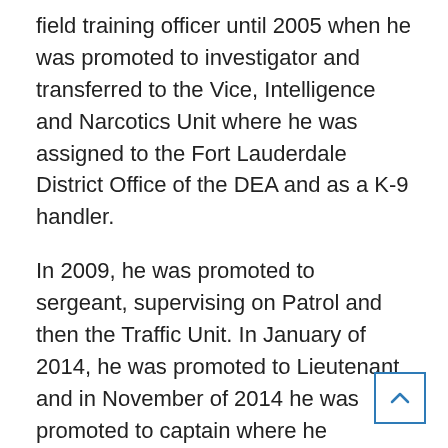field training officer until 2005 when he was promoted to investigator and transferred to the Vice, Intelligence and Narcotics Unit where he was assigned to the Fort Lauderdale District Office of the DEA and as a K-9 handler.
In 2009, he was promoted to sergeant, supervising on Patrol and then the Traffic Unit. In January of 2014, he was promoted to Lieutenant and in November of 2014 he was promoted to captain where he supervised the Community Services and Patrol/Operation Support components. He was promoted to deputy chief in March of 2018.
In addition, McKeone served as executive officer for SWAT team. He has received multiple awards for Exceptional Police Initiative, Team Citations and was